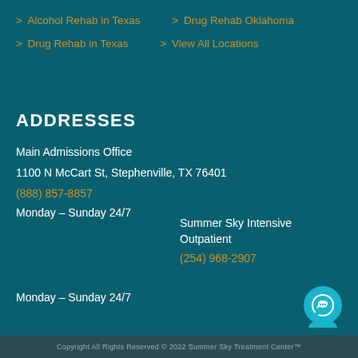> Alcohol Rehab in Texas
> Drug Rehab Oklahoma
> Drug Rehab in Texas
> View All Locations
ADDRESSES
Main Admissions Office
1100 N McCart St, Stephenville, TX 76401
(888) 857-8857
Monday – Sunday 24/7
Summer Sky Intensive Outpatient
(254) 968-2907
Monday – Sunday 24/7
Copyright All Rights Reserved © 2022 Summer Sky Treatment Center™